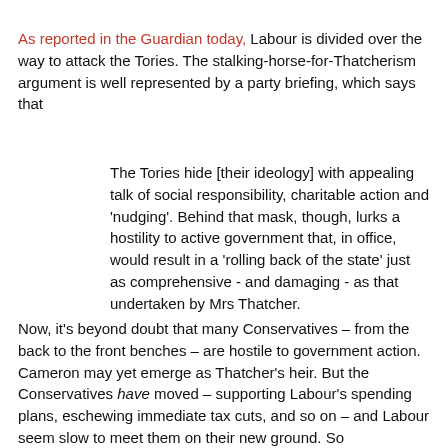As reported in the Guardian today, Labour is divided over the way to attack the Tories. The stalking-horse-for-Thatcherism argument is well represented by a party briefing, which says that
The Tories hide [their ideology] with appealing talk of social responsibility, charitable action and 'nudging'. Behind that mask, though, lurks a hostility to active government that, in office, would result in a 'rolling back of the state' just as comprehensive - and damaging - as that undertaken by Mrs Thatcher.
Now, it's beyond doubt that many Conservatives – from the back to the front benches – are hostile to government action. Cameron may yet emerge as Thatcher's heir. But the Conservatives have moved – supporting Labour's spending plans, eschewing immediate tax cuts, and so on – and Labour seem slow to meet them on their new ground. So